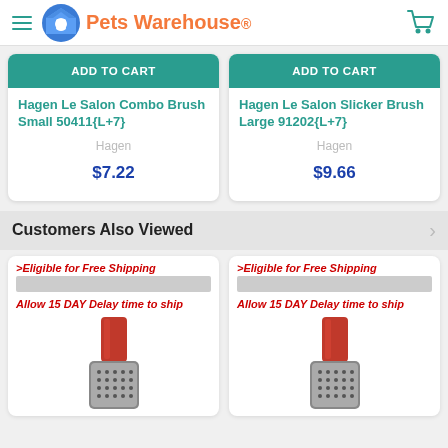Pets Warehouse
ADD TO CART
Hagen Le Salon Combo Brush Small 50411{L+7}
Hagen
$7.22
ADD TO CART
Hagen Le Salon Slicker Brush Large 91202{L+7}
Hagen
$9.66
Customers Also Viewed
>Eligible for Free Shipping
Allow 15 DAY Delay time to ship
>Eligible for Free Shipping
Allow 15 DAY Delay time to ship